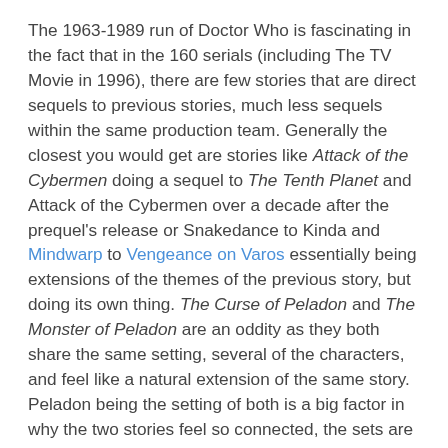The 1963-1989 run of Doctor Who is fascinating in the fact that in the 160 serials (including The TV Movie in 1996), there are few stories that are direct sequels to previous stories, much less sequels within the same production team. Generally the closest you would get are stories like Attack of the Cybermen doing a sequel to The Tenth Planet and Attack of the Cybermen over a decade after the prequel's release or Snakedance to Kinda and Mindwarp to Vengeance on Varos essentially being extensions of the themes of the previous story, but doing its own thing. The Curse of Peladon and The Monster of Peladon are an oddity as they both share the same setting, several of the characters, and feel like a natural extension of the same story. Peladon being the setting of both is a big factor in why the two stories feel so connected, the sets are the same and it feels like the planet is evolving and changing. The Curse of Peladon aired as the second story from Season 9 beginning at